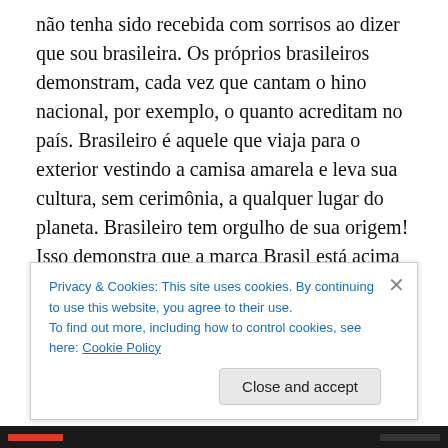não tenha sido recebida com sorrisos ao dizer que sou brasileira. Os próprios brasileiros demonstram, cada vez que cantam o hino nacional, por exemplo, o quanto acreditam no país. Brasileiro é aquele que viaja para o exterior vestindo a camisa amarela e leva sua cultura, sem cerimônia, a qualquer lugar do planeta. Brasileiro tem orgulho de sua origem! Isso demonstra que a marca Brasil está acima dos personagens que tentam se apropriar dela. Mas nenhuma marca resiste a sucessivos desgastes. E também não vive eternamente do bom marketing. É preciso conteúdo verdadeiro para
Privacy & Cookies: This site uses cookies. By continuing to use this website, you agree to their use.
To find out more, including how to control cookies, see here: Cookie Policy